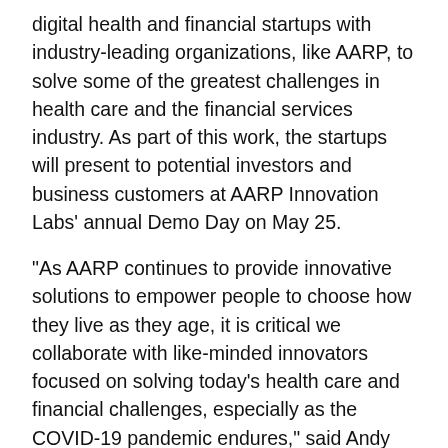digital health and financial startups with industry-leading organizations, like AARP, to solve some of the greatest challenges in health care and the financial services industry. As part of this work, the startups will present to potential investors and business customers at AARP Innovation Labs' annual Demo Day on May 25.
“As AARP continues to provide innovative solutions to empower people to choose how they live as they age, it is critical we collaborate with like-minded innovators focused on solving today’s health care and financial challenges, especially as the COVID-19 pandemic endures,” said Andy Miller, Senior Vice President of AARP Innovation Labs. “The startups in this year’s cohort are focusing on some of the biggest issues impacting older adults today, from remote home care to patient monitoring, and managing student debt to home expenses.”
More Challenge Health Tech startups include: